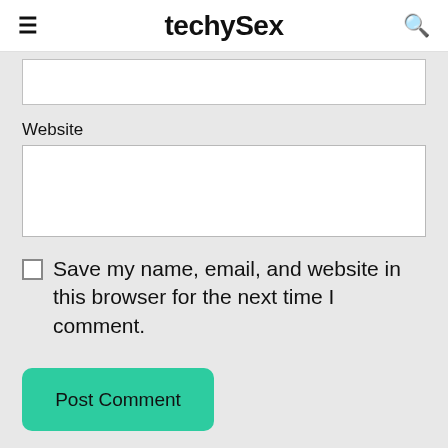techySex
Website
Save my name, email, and website in this browser for the next time I comment.
Post Comment